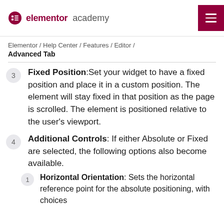elementor academy
Elementor / Help Center / Features / Editor /
Advanced Tab
Fixed Position: Set your widget to have a fixed position and place it in a custom position. The element will stay fixed in that position as the page is scrolled. The element is positioned relative to the user's viewport.
Additional Controls: If either Absolute or Fixed are selected, the following options also become available.
Horizontal Orientation: Sets the horizontal reference point for the absolute positioning, with choices